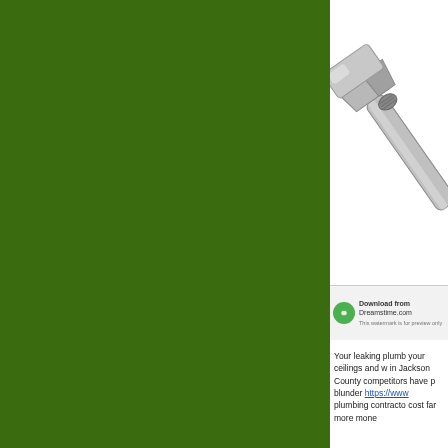[Figure (illustration): Large green rectangular panel on the left side of the page, approximately 330px wide and 448px tall, solid dark green background]
[Figure (photo): Photo of a chrome/silver adjustable wrench (spanner) on a white background, positioned in the upper right area of the page. The wrench is angled diagonally.]
[Figure (other): Dreamstime.com watermark banner with green circular logo icon, text reading 'Download from Dreamstime.com' and a URL/license line below]
Your leaking plumb your ceilings and w in Jackson County competitors have p blunder https://www plumbing contracto cost far more mone